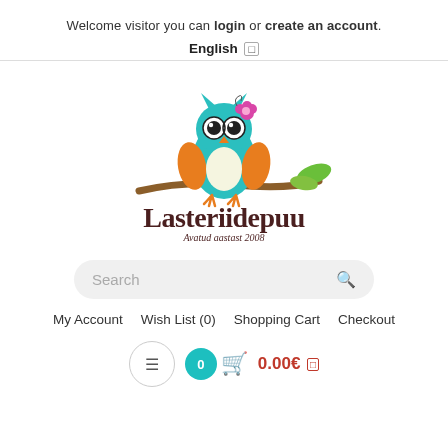Welcome visitor you can login or create an account.
English
[Figure (logo): Lasteriidepuu owl logo with teal owl sitting on a branch, pink flower, and text 'Lasteriidepuu' with 'Avatud aastast 2008' below]
Search
My Account   Wish List (0)   Shopping Cart   Checkout
0.00€